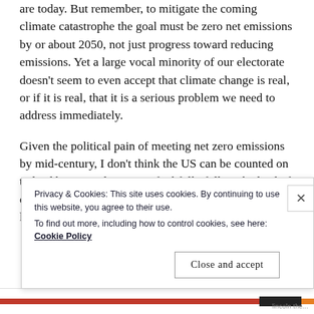are today. But remember, to mitigate the coming climate catastrophe the goal must be zero net emissions by or about 2050, not just progress toward reducing emissions. Yet a large vocal minority of our electorate doesn't seem to even accept that climate change is real, or if it is real, that it is a serious problem we need to address immediately.
Given the political pain of meeting net zero emissions by mid-century, I don't think the US can be counted on to lead by example or even faithfully follow the lead of other international players like China or the EU. The long term global cooperation and selflessness required
Privacy & Cookies: This site uses cookies. By continuing to use this website, you agree to their use.
To find out more, including how to control cookies, see here: Cookie Policy
Close and accept